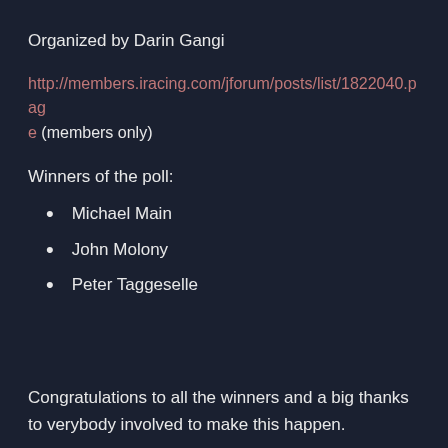Organized by Darin Gangi
http://members.iracing.com/jforum/posts/list/1822040.page (members only)
Winners of the poll:
Michael Main
John Molony
Peter Taggeselle
Congratulations to all the winners and a big thanks to verybody involved to make this happen.